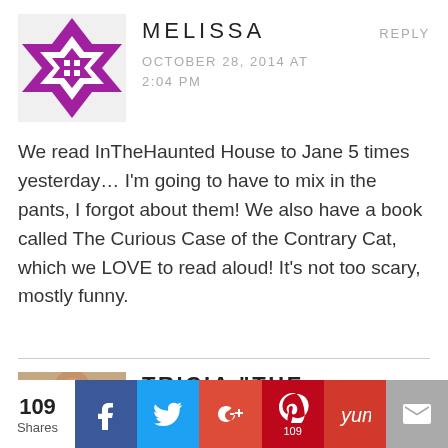MELISSA
OCTOBER 28, 2014 AT 2:04 PM
We read InTheHaunted House to Jane 5 times yesterday… I'm going to have to mix in the pants, I forgot about them! We also have a book called The Curious Case of the Contrary Cat, which we LOVE to read aloud! It's not too scary, mostly funny.
TRICIA "THE GOOD MAMA"
OCTOBER 30, 2014 AT
109 Shares